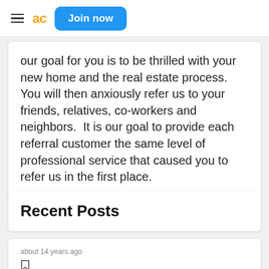ac  Join now
our goal for you is to be thrilled with your new home and the real estate process.  You will then anxiously refer us to your friends, relatives, co-workers and neighbors.  It is our goal to provide each referral customer the same level of professional service that caused you to refer us in the first place.
Recent Posts
about 14 years ago
Three Bedroom Wyoming Ranch